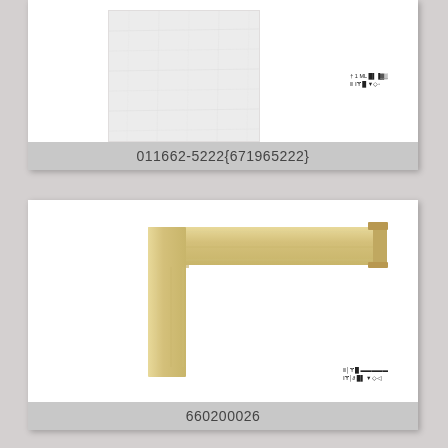[Figure (photo): Top card showing a light gray/white textured frame corner sample image with small text labels at right]
011662-5222{671965222}
[Figure (photo): Bottom card showing a light natural wood frame corner (L-shape) on white background with small text labels at bottom right]
660200026